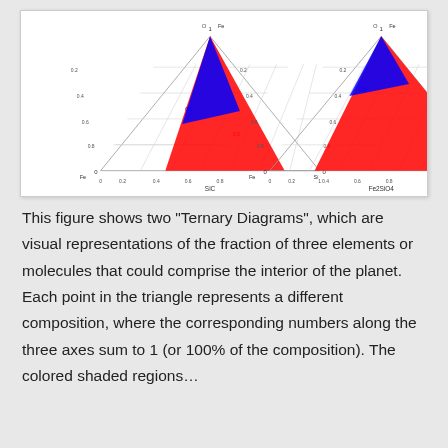[Figure (other): Two ternary diagrams side by side showing colored regions (blue and red) within triangular plots. Left diagram is labeled 'SiC' on x-axis, right diagram is labeled 'Fe2SiO4' on x-axis. Both show overlapping blue and red triangular regions indicating compositional ranges. Axes run from 0 to 1 with gridlines and tick labels.]
This figure shows two "Ternary Diagrams", which are visual representations of the fraction of three elements or molecules that could comprise the interior of the planet. Each point in the triangle represents a different composition, where the corresponding numbers along the three axes sum to 1 (or 100% of the composition). The colored shaded regions...